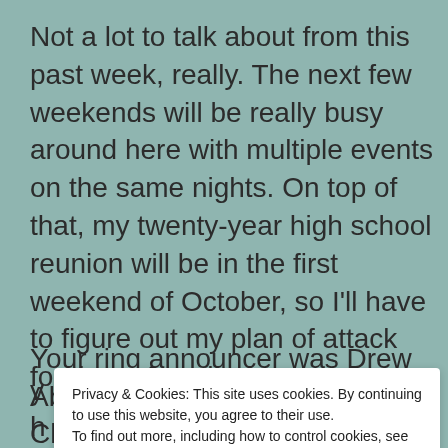Not a lot to talk about from this past week, really. The next few weekends will be really busy around here with multiple events on the same nights. On top of that, my twenty-year high school reunion will be in the first weekend of October, so I'll have to figure out my plan of attack for those few days.
Your ring announcer was Drew Abbenhaus,
B
Christian Rose & Ax (Allwardt): This was
Privacy & Cookies: This site uses cookies. By continuing to use this website, you agree to their use. To find out more, including how to control cookies, see here: Cookie Policy
Close and accept